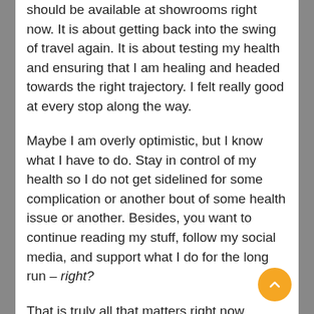should be available at showrooms right now. It is about getting back into the swing of travel again. It is about testing my health and ensuring that I am healing and headed towards the right trajectory. I felt really good at every stop along the way.
Maybe I am overly optimistic, but I know what I have to do. Stay in control of my health so I do not get sidelined for some complication or another bout of some health issue or another. Besides, you want to continue reading my stuff, follow my social media, and support what I do for the long run – right?
That is truly all that matters right now.
DISCLAIMER: Vehicles, travel, and logistics provided by Hyundai Motor America